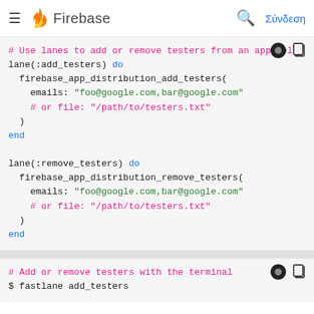Firebase — Σύνδεση
[Figure (screenshot): Code block showing Firebase lane(:add_testers) and lane(:remove_testers) Ruby/Fastlane code with syntax highlighting on a light grey background]
[Figure (screenshot): Code block showing terminal commands: # Add or remove testers with the terminal and $ fastlane add_testers]